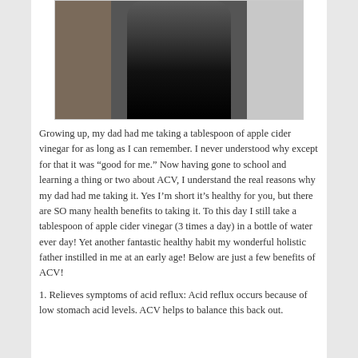[Figure (photo): Person wearing black leggings and a grey top, standing indoors, photo cropped at torso/mid-body level]
Growing up, my dad had me taking a tablespoon of apple cider vinegar for as long as I can remember. I never understood why except for that it was “good for me.” Now having gone to school and learning a thing or two about ACV, I understand the real reasons why my dad had me taking it. Yes I’m short it’s healthy for you, but there are SO many health benefits to taking it. To this day I still take a tablespoon of apple cider vinegar (3 times a day) in a bottle of water ever day! Yet another fantastic healthy habit my wonderful holistic father instilled in me at an early age! Below are just a few benefits of ACV!
1. Relieves symptoms of acid reflux: Acid reflux occurs because of low stomach acid levels. ACV helps to balance this back out.